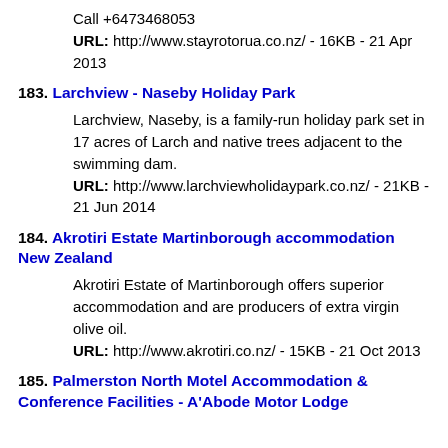Call +6473468053
URL: http://www.stayrotorua.co.nz/ - 16KB - 21 Apr 2013
183. Larchview - Naseby Holiday Park
Larchview, Naseby, is a family-run holiday park set in 17 acres of Larch and native trees adjacent to the swimming dam.
URL: http://www.larchviewholidaypark.co.nz/ - 21KB - 21 Jun 2014
184. Akrotiri Estate Martinborough accommodation New Zealand
Akrotiri Estate of Martinborough offers superior accommodation and are producers of extra virgin olive oil.
URL: http://www.akrotiri.co.nz/ - 15KB - 21 Oct 2013
185. Palmerston North Motel Accommodation & Conference Facilities - A'Abode Motor Lodge